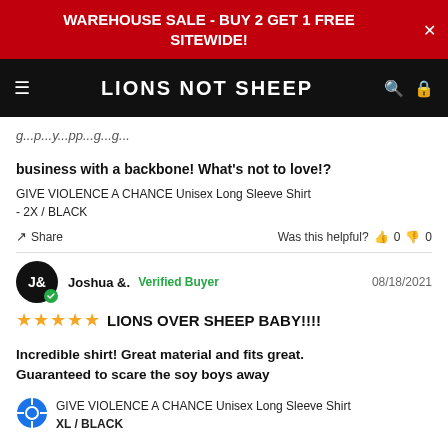WAREHOUSE SALE - BUY 2 GET 1 FREE SITEWIDE!
LIONS NOT SHEEP
business with a backbone! What's not to love!?
GIVE VIOLENCE A CHANCE Unisex Long Sleeve Shirt - 2X / BLACK
Share   Was this helpful?  0  0
Joshua &.  Verified Buyer  08/18/2021
★★★★★  LIONS OVER SHEEP BABY!!!!
Incredible shirt! Great material and fits great. Guaranteed to scare the soy boys away
GIVE VIOLENCE A CHANCE Unisex Long Sleeve Shirt - XL / BLACK